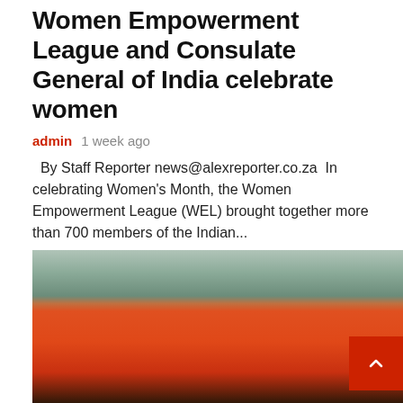Women Empowerment League and Consulate General of India celebrate women
admin  1 week ago
By Staff Reporter news@alexreporter.co.za  In celebrating Women's Month, the Women Empowerment League (WEL) brought together more than 700 members of the Indian...
Read More
[Figure (photo): A person wearing a red athletic t-shirt crouching at what appears to be a running track or sports facility, with buildings visible in the background.]